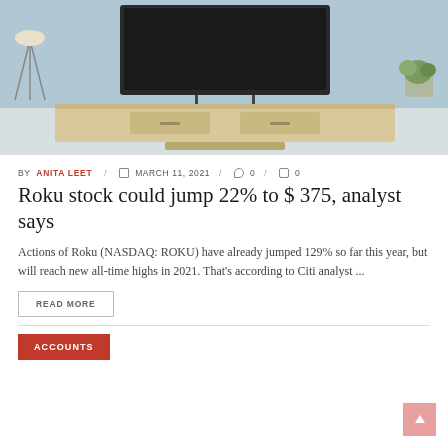[Figure (photo): Hero image showing a living room media console/TV stand in a modern interior with plants and decor, muted blue-gray tones]
BY ANITA LEET / MARCH 11, 2021 / 0 / 0
Roku stock could jump 22% to $ 375, analyst says
Actions of Roku (NASDAQ: ROKU) have already jumped 129% so far this year, but will reach new all-time highs in 2021. That’s according to Citi analyst ...
READ MORE
ACCOUNTS